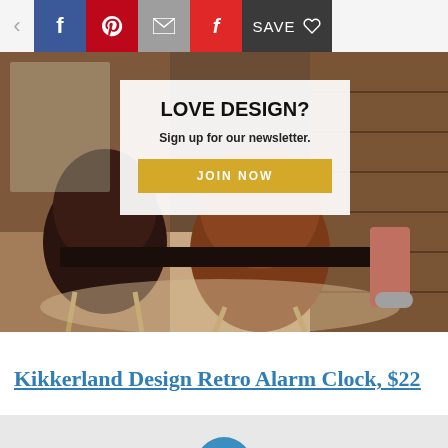[Figure (screenshot): Social sharing toolbar with back arrow, Facebook (blue), Pinterest (red), email (gray), Flipboard (red), and Save (dark) buttons]
[Figure (photo): Advertisement banner showing leather dining chairs at a wooden table with overlay text 'LOVE DESIGN? Sign up for our newsletter. JOIN NOW']
Kikkerland Design Retro Alarm Clock, $22
[Figure (photo): Partially visible product image at the bottom of the page, light gray background with blue circular element visible]